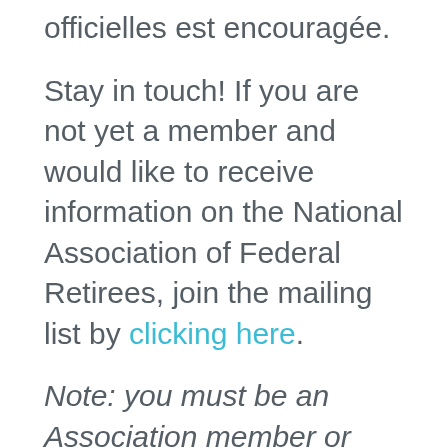officielles est encouragée.
Stay in touch! If you are not yet a member and would like to receive information on the National Association of Federal Retirees, join the mailing list by clicking here.
Note: you must be an Association member or guest of a member and registered in order to participate in this event. To